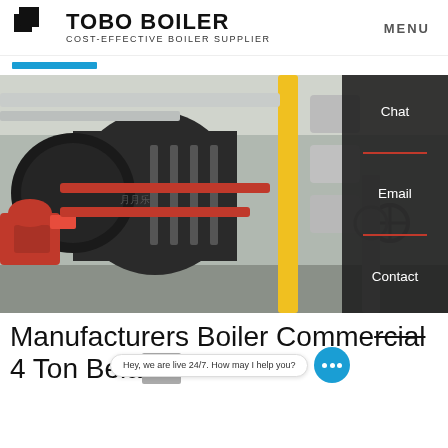TOBO BOILER — COST-EFFECTIVE BOILER SUPPLIER | MENU
[Figure (photo): Industrial boiler installation with large cylindrical boiler body, red burner, yellow gas pipes, silver insulated pipes, and various fittings in an indoor facility.]
Chat
Email
Contact
Manufacturers Boiler Commercial 4 Ton Belarus
Hey, we are live 24/7. How may I help you?